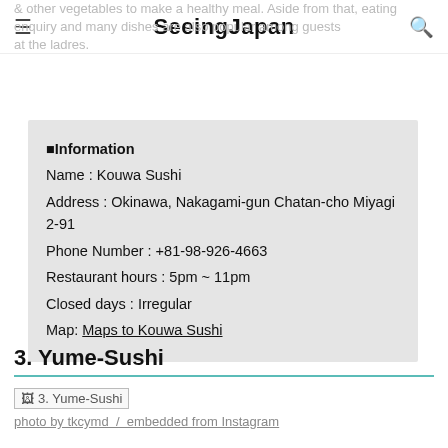SeeingJapan
& other vegetables to make a healthy meal. Aside from that, eating enquiry and many dishes are also popular among guests at the ladres.
| ■Information |
| Name : Kouwa Sushi |
| Address : Okinawa, Nakagami-gun Chatan-cho Miyagi 2-91 |
| Phone Number : +81-98-926-4663 |
| Restaurant hours : 5pm ~ 11pm |
| Closed days : Irregular |
| Map: Maps to Kouwa Sushi |
3. Yume-Sushi
[Figure (photo): Photo of 3. Yume-Sushi]
photo by tkcymd  /  embedded from Instagram
Located in the lively Kumoji area, and surrounded by many restaurants, Yume-sushi has a calm relaxed atmosphere. Many people come to try the pacific bluefin tuna from Tsukiji or Yamakou that's offered here.
Popular among the locals, the lunch time special is recommended.